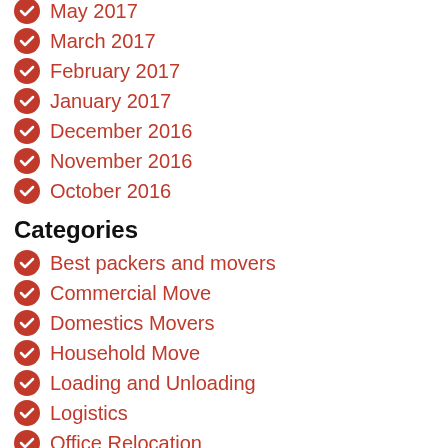May 2017
March 2017
February 2017
January 2017
December 2016
November 2016
October 2016
Categories
Best packers and movers
Commercial Move
Domestics Movers
Household Move
Loading and Unloading
Logistics
Office Relocation
Packers and Movers
Packers and Movers in Ahmedabad
Packers and Movers in Bangalore
Packers and movers in chennai
Packers and Movers in Delhi